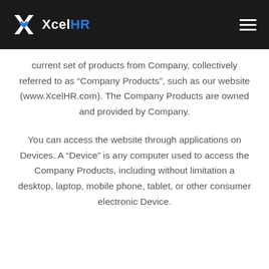[Figure (logo): XcelHR logo with white X icon and blue HR text on dark header bar, with hamburger menu icon on right]
current set of products from Company, collectively referred to as “Company Products”, such as our website (www.XcelHR.com). The Company Products are owned and provided by Company.
You can access the website through applications on Devices. A “Device” is any computer used to access the Company Products, including without limitation a desktop, laptop, mobile phone, tablet, or other consumer electronic Device.